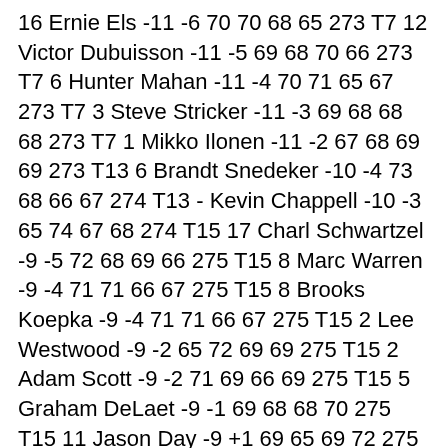16 Ernie Els -11 -6 70 70 68 65 273 T7 12 Victor Dubuisson -11 -5 69 68 70 66 273 T7 6 Hunter Mahan -11 -4 70 71 65 67 273 T7 3 Steve Stricker -11 -3 69 68 68 68 273 T7 1 Mikko Ilonen -11 -2 67 68 69 69 273 T13 6 Brandt Snedeker -10 -4 73 68 66 67 274 T13 - Kevin Chappell -10 -3 65 74 67 68 274 T15 17 Charl Schwartzel -9 -5 72 68 69 66 275 T15 8 Marc Warren -9 -4 71 71 66 67 275 T15 8 Brooks Koepka -9 -4 71 71 66 67 275 T15 2 Lee Westwood -9 -2 65 72 69 69 275 T15 2 Adam Scott -9 -2 71 69 66 69 275 T15 5 Graham DeLaet -9 -1 69 68 68 70 275 T15 11 Jason Day -9 +1 69 65 69 72 275 T15 9 Louis Oosthuizen -9 E 70 67 67 71 275 T15 13 Bernd Wiesberger -9 +3 68 68 65 74 275 T24 8 Justin Rose -8 -4 70 72 67 67 276 T24 14 Jamie Donaldson -8 E 69 70 66 71 276 26 13 Joost Luiten -7 E 68 69 69 71 277 T27 15 Jerry Kelly -6 -4 67 74 70 67 278 T27 11 Kenny Perry -6